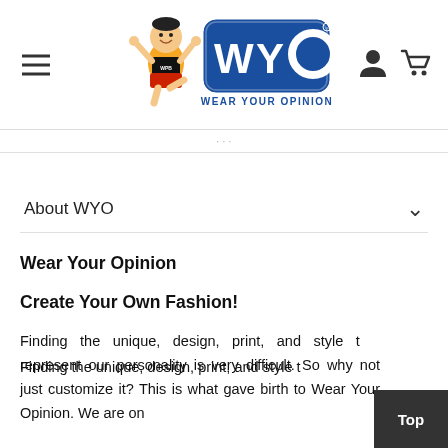WYO - Wear Your Opinion (logo header with hamburger menu and cart/user icons)
About WYO
Wear Your Opinion
Create Your Own Fashion!
Finding the unique, design, print, and style that represent our personality is very difficult. So why not just customize it? This is what gave birth to Wear Your Opinion. We are on